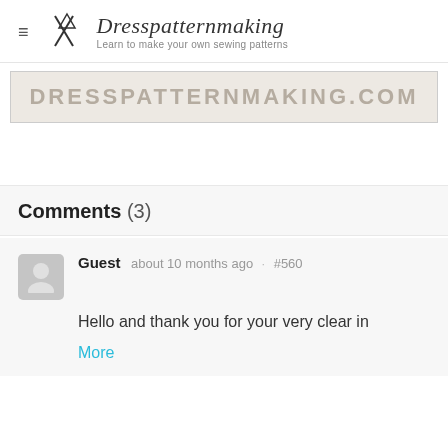Dresspatternmaking — Learn to make your own sewing patterns
[Figure (screenshot): DRESSPATTERNMAKING.COM banner image with light tan/beige background]
Comments (3)
Guest about 10 months ago · #560
Hello and thank you for your very clear in
More